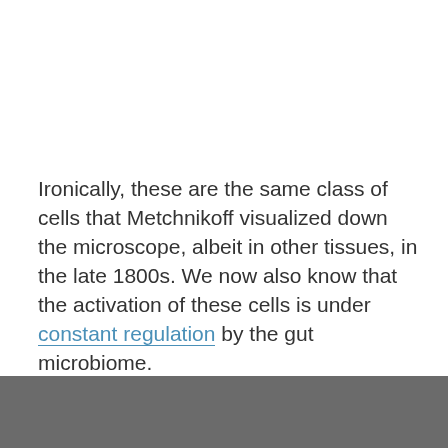Ironically, these are the same class of cells that Metchnikoff visualized down the microscope, albeit in other tissues, in the late 1800s. We now also know that the activation of these cells is under constant regulation by the gut microbiome.
So the next part of the puzzle was to see if the negative effects of aging on immunity are also